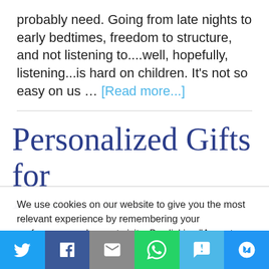probably need. Going from late nights to early bedtimes, freedom to structure, and not listening to....well, hopefully, listening...is hard on children. It's not so easy on us … [Read more...]
Personalized Gifts for that Special Someone
We use cookies on our website to give you the most relevant experience by remembering your preferences and repeat visits. By clicking "Accept All", you consent to the use of ALL the cookies. However, you may visit "Cookie Settings" to provide a controlled consent.
[Figure (infographic): Social sharing bar with six buttons: Twitter (blue bird), Facebook (blue f), Email (grey envelope), WhatsApp (green phone), SMS (blue SMS bubble), More (blue circle arrow)]